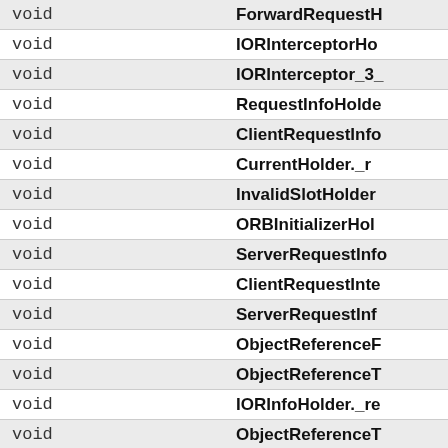| type | name |
| --- | --- |
| void | ForwardRequestH... |
| void | IORInterceptorHo... |
| void | IORInterceptor_3_... |
| void | RequestInfoHolde... |
| void | ClientRequestInfo... |
| void | CurrentHolder._r... |
| void | InvalidSlotHolder... |
| void | ORBInitializerHol... |
| void | ServerRequestInfo... |
| void | ClientRequestInte... |
| void | ServerRequestInf... |
| void | ObjectReferenceF... |
| void | ObjectReferenceT... |
| void | IORInfoHolder._re... |
| void | ObjectReferenceT... |